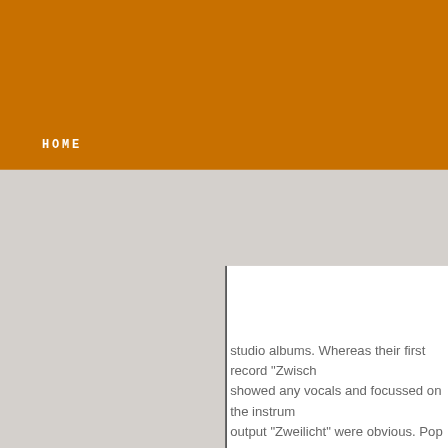HOME
studio albums. Whereas their first record "Zwisch... showed any vocals and focussed on the instrum... output "Zweilicht" were obvious. Pop and Blues i... elements. Hardly surprising, when considering th... "Redirections" (including interpretations by Kinde... inbetween. In "Zweilicht" Thiessen's voice came... an indie-pop hit of the summer. Kante's following...